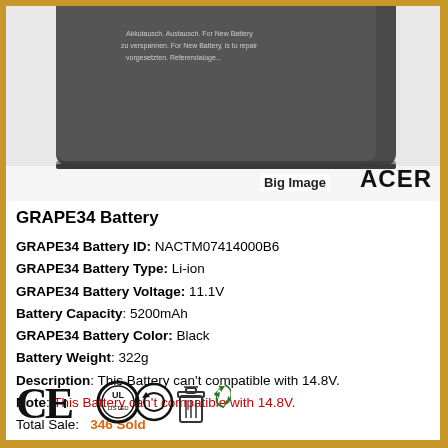[Figure (photo): Photo of a dark gray Acer laptop battery box on white surface, showing top corner with text labels on the box]
GRAPE34 Battery
GRAPE34 Battery ID: NACTM07414000B6
GRAPE34 Battery Type: Li-ion
GRAPE34 Battery Voltage: 11.1V
Battery Capacity: 5200mAh
GRAPE34 Battery Color: Black
Battery Weight: 322g
Description: This Battery can't compatible with 14.8V.
Note: This Battery can't compatible with 14.8V.
Total Sale: 346 Sold
Battery Cells Amount: 6-Cells
[Figure (other): Certification icons: CE mark, UL mark, recycling/phone symbol, WEEE dustbin symbol, recycling arrows symbol]